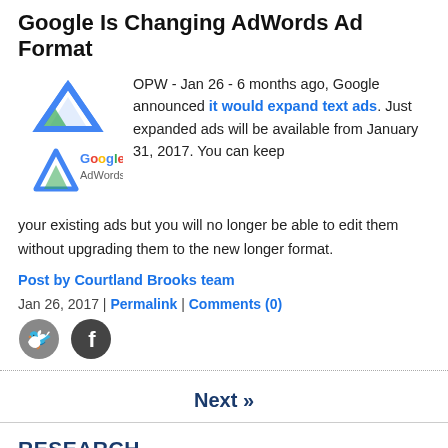Google Is Changing AdWords Ad Format
OPW - Jan 26 - 6 months ago, Google announced it would expand text ads. Just expanded ads will be available from January 31, 2017. You can keep your existing ads but you will no longer be able to edit them without upgrading them to the new longer format.
Post by Courtland Brooks team
Jan 26, 2017 | Permalink | Comments (0)
[Figure (illustration): Twitter and Facebook social share icons]
Next »
RESEARCH
News by Company
Dig Deeper - Research Categories